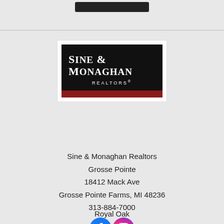[Figure (logo): Sine & Monaghan Realtors logo — black rectangle with serif white text 'SINE & MONAGHAN' and 'REALTORS®' below, with a dark red bar at the bottom]
Sine & Monaghan Realtors
Grosse Pointe
18412 Mack Ave
Grosse Pointe Farms, MI 48236
313-884-7000
[Figure (illustration): Facebook and Instagram social media icons side by side]
Royal Oak